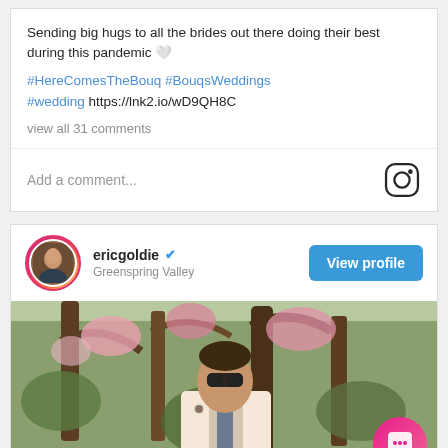Sending big hugs to all the brides out there doing their best during this pandemic 🤍
#HereComesTheBouq #BouqsWeddings #wedding https://lnk2.io/wD9QH8C
view all 31 comments
Add a comment...
ericgoldie ✓ Greenspring Valley
[Figure (photo): Man in a beige suit with sunglasses standing outdoors among trees with pink blossoms]
[Figure (screenshot): Instagram chat bubble widget in bottom right corner]